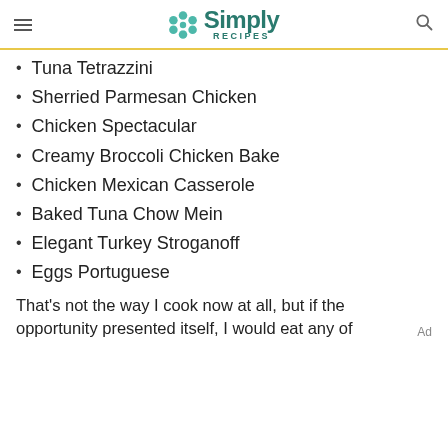Simply Recipes
Tuna Tetrazzini
Sherried Parmesan Chicken
Chicken Spectacular
Creamy Broccoli Chicken Bake
Chicken Mexican Casserole
Baked Tuna Chow Mein
Elegant Turkey Stroganoff
Eggs Portuguese
That's not the way I cook now at all, but if the opportunity presented itself, I would eat any of